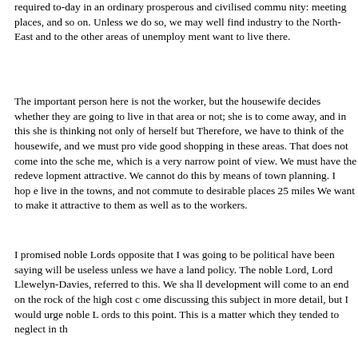required to-day in an ordinary prosperous and civilised community: meeting places, and so on. Unless we do so, we may well find industry to the North-East and to the other areas of unemployment want to live there.
The important person here is not the worker, but the housewife decides whether they are going to live in that area or not; she to come away, and in this she is thinking not only of herself but Therefore, we have to think of the housewife, and we must provide good shopping in these areas. That does not come into the scheme which is a very narrow point of view. We must have the redevelopment attractive. We cannot do this by means of town planning. I hope live in the towns, and not commute to desirable places 25 miles We want to make it attractive to them as well as to the workers.
I promised noble Lords opposite that I was going to be political have been saying will be useless unless we have a land policy. The noble Lord, Lord Llewelyn-Davies, referred to this. We shall development will come to an end on the rock of the high cost discussing this subject in more detail, but I would urge noble Lords to this point. This is a matter which they tended to neglect in the